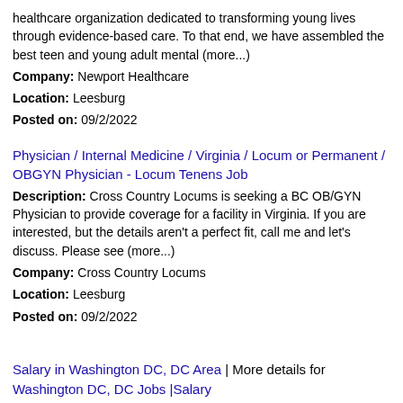healthcare organization dedicated to transforming young lives through evidence-based care. To that end, we have assembled the best teen and young adult mental (more...)
Company: Newport Healthcare
Location: Leesburg
Posted on: 09/2/2022
Physician / Internal Medicine / Virginia / Locum or Permanent / OBGYN Physician - Locum Tenens Job
Description: Cross Country Locums is seeking a BC OB/GYN Physician to provide coverage for a facility in Virginia. If you are interested, but the details aren't a perfect fit, call me and let's discuss. Please see (more...)
Company: Cross Country Locums
Location: Leesburg
Posted on: 09/2/2022
Salary in Washington DC, DC Area | More details for Washington DC, DC Jobs |Salary
Cook (Full Time + Benefits) - $1,000 Retention Bonus
Description: Hessler Heights, the premier retirement community for